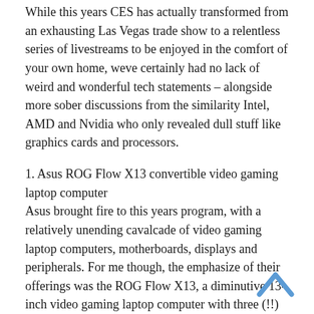While this years CES has actually transformed from an exhausting Las Vegas trade show to a relentless series of livestreams to be enjoyed in the comfort of your own home, weve certainly had no lack of weird and wonderful tech statements – alongside more sober discussions from the similarity Intel, AMD and Nvidia who only revealed dull stuff like graphics cards and processors.
1. Asus ROG Flow X13 convertible video gaming laptop computer
Asus brought fire to this years program, with a relatively unending cavalcade of video gaming laptop computers, motherboards, displays and peripherals. For me though, the emphasize of their offerings was the ROG Flow X13, a diminutive 13-inch video gaming laptop computer with three (!!) graphics cards. You can choose in between integrated Vega graphics from the Ryzen 5980HS processor, a discrete GTX 1650 GPU and a small external RTX 3080 graphics card.
That last alternative is just readily available if you get